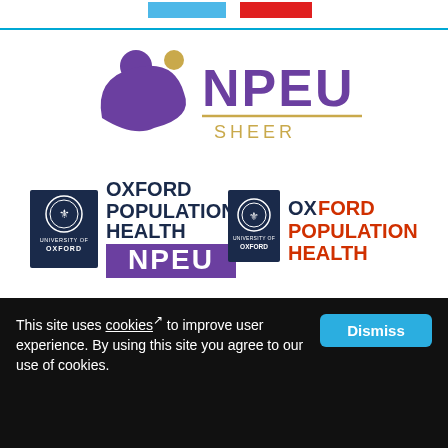[Figure (logo): Top color bar with blue and red rectangles]
[Figure (logo): NPEU SHEER logo with purple figure and gold text]
[Figure (logo): Oxford Population Health NPEU logo (left)]
[Figure (logo): Oxford Population Health logo (right)]
[Figure (logo): University of Oxford logo (dark blue banner)]
This site uses cookies to improve user experience. By using this site you agree to our use of cookies.
Dismiss